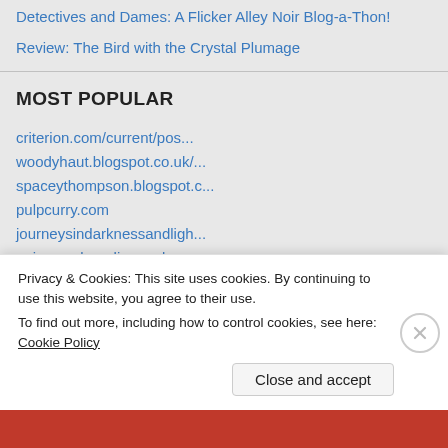Detectives and Dames: A Flicker Alley Noir Blog-a-Thon!
Review: The Bird with the Crystal Plumage
MOST POPULAR
criterion.com/current/pos...
woodyhaut.blogspot.co.uk/...
spaceythompson.blogspot.c...
pulpcurry.com
journeysindarknessandligh...
noirencyclopedia.wordpres...
noirsville.blogspot.com
automattic.com/cookies...
Privacy & Cookies: This site uses cookies. By continuing to use this website, you agree to their use.
To find out more, including how to control cookies, see here: Cookie Policy
Close and accept